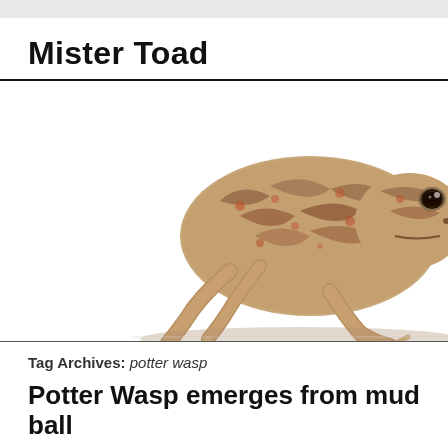Mister Toad
[Figure (photo): A brown and tan mottled toad photographed against a white background, shown in profile facing right with one front leg raised.]
Tag Archives: potter wasp
Potter Wasp emerges from mud ball
Posted on 05/08/2012 by mfbenard